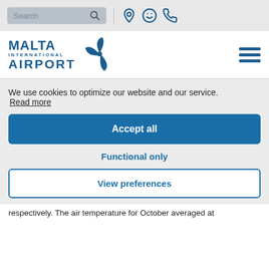Search | [location icon] | [smiley icon] | [phone icon]
[Figure (logo): Malta International Airport logo with stylized windmill/propeller icon in dark blue]
We use cookies to optimize our website and our service. Read more
Accept all
Functional only
View preferences
respectively. The air temperature for October averaged at